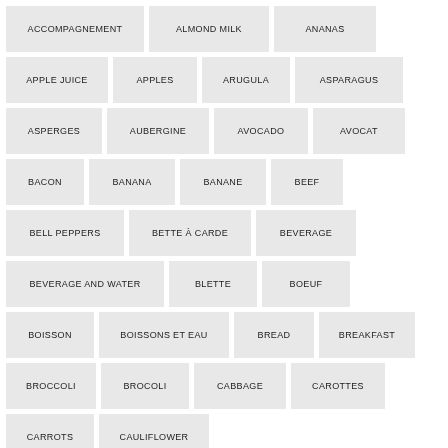ACCOMPAGNEMENT
ALMOND MILK
ANANAS
APPLE JUICE
APPLES
ARUGULA
ASPARAGUS
ASPERGES
AUBERGINE
AVOCADO
AVOCAT
BACON
BANANA
BANANE
BEEF
BELL PEPPERS
BETTE À CARDE
BEVERAGE
BEVERAGE AND WATER
BLETTE
BOEUF
BOISSON
BOISSONS ET EAU
BREAD
BREAKFAST
BROCCOLI
BROCOLI
CABBAGE
CAROTTES
CARROTS
CAULIFLOWER